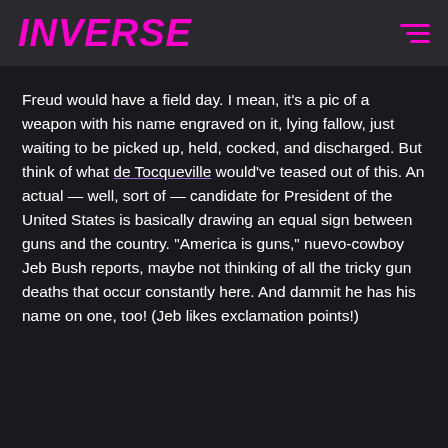INVERSE
Freud would have a field day. I mean, it's a pic of a weapon with his name engraved on it, lying fallow, just waiting to be picked up, held, cocked, and discharged. But think of what de Tocqueville would've teased out of this. An actual — well, sort of — candidate for President of the United States is basically drawing an equal sign between guns and the country. “America is guns,” nuevo-cowboy Jeb Bush reports, maybe not thinking of all the tricky gun deaths that occur constantly here. And dammit he has his name on one, too! (Jeb likes exclamation points!)